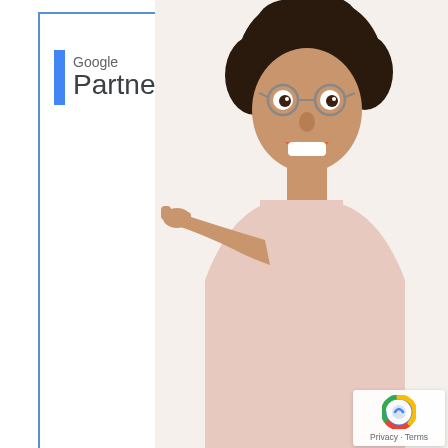[Figure (photo): Woman with curly hair and round glasses, wearing a pink t-shirt, pointing left with an excited expression — overlaid on a Google Partner badge framed in blue border]
[Figure (logo): Google Partner logo with blue vertical bar, 'Google' in grey small text, 'Partner' in large grey text]
Google 5.0 ★★★★★
[Figure (logo): Yell.com logo with yellow triangle/arrow icon and 'Yell.com' text in dark]
Privacy · Terms